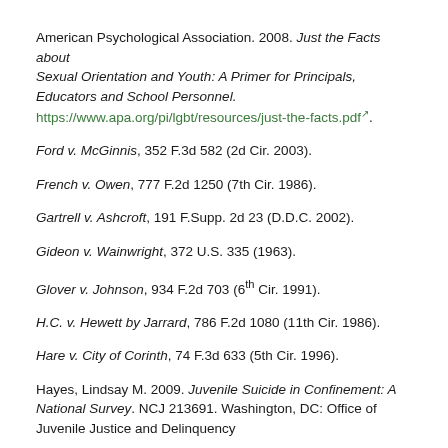American Psychological Association. 2008. Just the Facts about Sexual Orientation and Youth: A Primer for Principals, Educators and School Personnel. https://www.apa.org/pi/lgbt/resources/just-the-facts.pdf.
Ford v. McGinnis, 352 F.3d 582 (2d Cir. 2003).
French v. Owen, 777 F.2d 1250 (7th Cir. 1986).
Gartrell v. Ashcroft, 191 F.Supp. 2d 23 (D.D.C. 2002).
Gideon v. Wainwright, 372 U.S. 335 (1963).
Glover v. Johnson, 934 F.2d 703 (6th Cir. 1991).
H.C. v. Hewett by Jarrard, 786 F.2d 1080 (11th Cir. 1986).
Hare v. City of Corinth, 74 F.3d 633 (5th Cir. 1996).
Hayes, Lindsay M. 2009. Juvenile Suicide in Confinement: A National Survey. NCJ 213691. Washington, DC: Office of Juvenile Justice and Delinquency